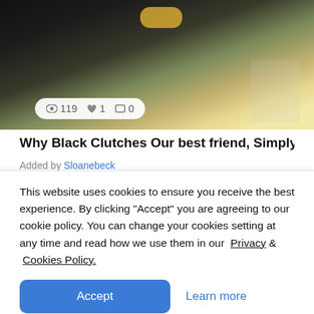[Figure (photo): Close-up photo of a hand with a yellow/gold bracelet against a dark background, partially cropped at the top of the page]
👁 119  ♡ 1  ▭ 0
Why Black Clutches Our best friend, Simply Because It Goe
Added by Sloanebeck
This website uses cookies to ensure you receive the best experience. By clicking "Accept" you are agreeing to our cookie policy. You can change your cookies setting at any time and read how we use them in our  Privacy &  Cookies Policy.
Accept
Learn more